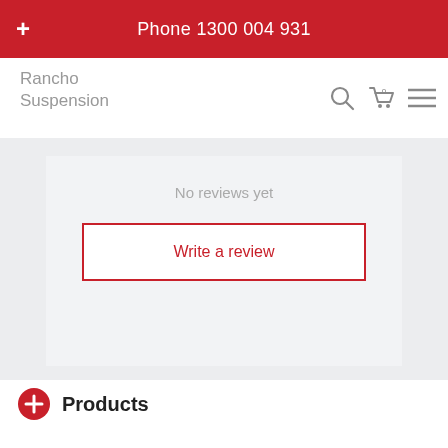Phone 1300 004 931
Rancho Suspension
No reviews yet
Write a review
Products